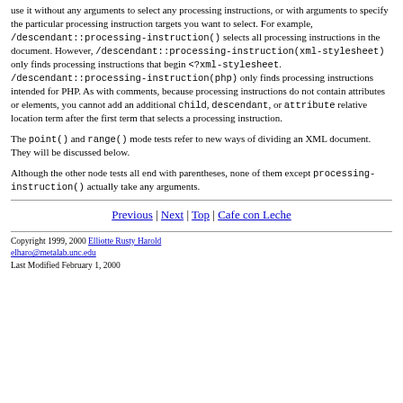use it without any arguments to select any processing instructions, or with arguments to specify the particular processing instruction targets you want to select. For example, /descendant::processing-instruction() selects all processing instructions in the document. However, /descendant::processing-instruction(xml-stylesheet) only finds processing instructions that begin <?xml-stylesheet. /descendant::processing-instruction(php) only finds processing instructions intended for PHP. As with comments, because processing instructions do not contain attributes or elements, you cannot add an additional child, descendant, or attribute relative location term after the first term that selects a processing instruction.
The point() and range() mode tests refer to new ways of dividing an XML document. They will be discussed below.
Although the other node tests all end with parentheses, none of them except processing-instruction() actually take any arguments.
Previous | Next | Top | Cafe con Leche
Copyright 1999, 2000 Elliotte Rusty Harold
elharo@metalab.unc.edu
Last Modified February 1, 2000